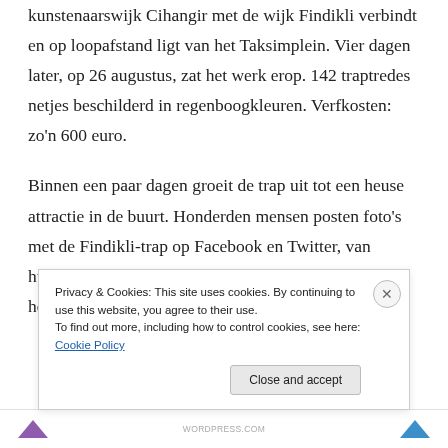kunstenaarswijk Cihangir met de wijk Findikli verbindt en op loopafstand ligt van het Taksimplein. Vier dagen later, op 26 augustus, zat het werk erop. 142 traptredes netjes beschilderd in regenboogkleuren. Verfkosten: zo'n 600 euro.
Binnen een paar dagen groeit de trap uit tot een heuse attractie in de buurt. Honderden mensen posten foto's met de Findikli-trap op Facebook en Twitter, van huwelijksfoto's tot professionele fotoshoots. De trap heeft een eigen pagina op...
Privacy & Cookies: This site uses cookies. By continuing to use this website, you agree to their use.
To find out more, including how to control cookies, see here: Cookie Policy
Close and accept